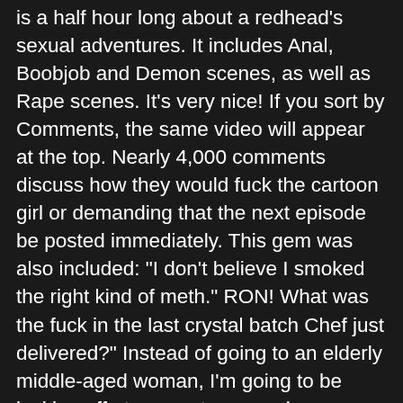is a half hour long about a redhead's sexual adventures. It includes Anal, Boobjob and Demon scenes, as well as Rape scenes. It's very nice! If you sort by Comments, the same video will appear at the top. Nearly 4,000 comments discuss how they would fuck the cartoon girl or demanding that the next episode be posted immediately. This gem was also included: "I don't believe I smoked the right kind of meth." RON! What was the fuck in the last crystal batch Chef just delivered?" Instead of going to an elderly middle-aged woman, I'm going to be jacking off at some strange anime-winged Japanese girl." The Random sort feature allows you to see all videos on the site in any order. It's great for dangerous games of fap Roulette. The dates displayed on the Recent clips will give you an idea about how often HentaiGasm updates. There were a few dozen uploaded in the same time period, but no upload schedule was apparent.